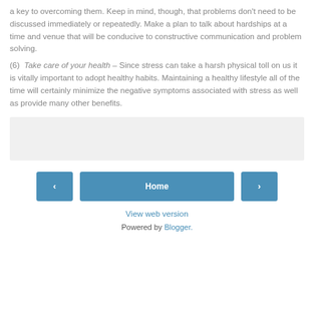a key to overcoming them. Keep in mind, though, that problems don't need to be discussed immediately or repeatedly. Make a plan to talk about hardships at a time and venue that will be conducive to constructive communication and problem solving.
(6)  Take care of your health – Since stress can take a harsh physical toll on us it is vitally important to adopt healthy habits. Maintaining a healthy lifestyle all of the time will certainly minimize the negative symptoms associated with stress as well as provide many other benefits.
[Figure (other): Light gray placeholder box]
[Figure (other): Navigation buttons: left arrow, Home button, right arrow]
View web version
Powered by Blogger.